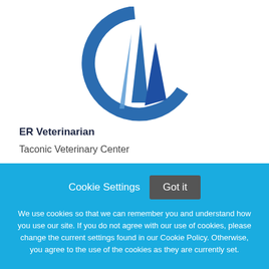[Figure (logo): Taconic Veterinary Center logo — a blue circular arc with stylized fin/wing shapes inside, in shades of blue]
ER Veterinarian
Taconic Veterinary Center
Cookie Settings  Got it
We use cookies so that we can remember you and understand how you use our site. If you do not agree with our use of cookies, please change the current settings found in our Cookie Policy. Otherwise, you agree to the use of the cookies as they are currently set.